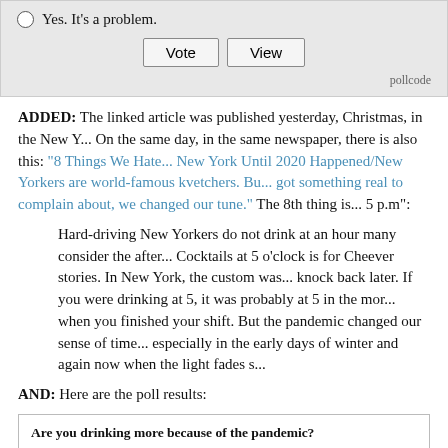Yes. It's a problem.
Vote  View
pollcode
ADDED: The linked article was published yesterday, Christmas, in the New Y... On the same day, in the same newspaper, there is also this: "8 Things We Hate... New York Until 2020 Happened/New Yorkers are world-famous kvetchers. Bu... got something real to complain about, we changed our tune." The 8th thing is... 5 p.m":
Hard-driving New Yorkers do not drink at an hour many consider the after... Cocktails at 5 o'clock is for Cheever stories. In New York, the custom was... knock back later. If you were drinking at 5, it was probably at 5 in the mor... when you finished your shift. But the pandemic changed our sense of time... especially in the early days of winter and again now when the light fades s...
AND: Here are the poll results:
| Selection | Votes |
| --- | --- |